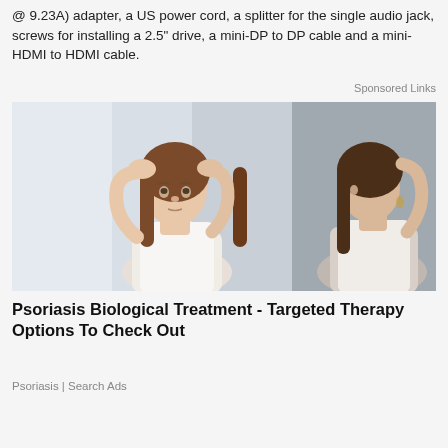@ 9.23A) adapter, a US power cord, a splitter for the single audio jack, screws for installing a 2.5" drive, a mini-DP to DP cable and a mini-HDMI to HDMI cable.
Sponsored Links
[Figure (photo): Woman looking in mirror examining her scalp/hair, appearing concerned, hands on head]
Psoriasis Biological Treatment - Targeted Therapy Options To Check Out
Psoriasis | Search Ads